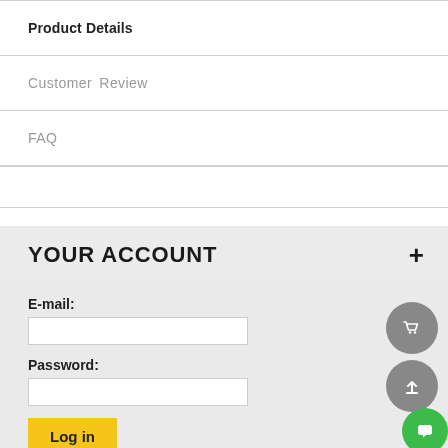Product Details
Customer Review
FAQ
YOUR ACCOUNT
E-mail:
Password:
Log in
Or connect with :